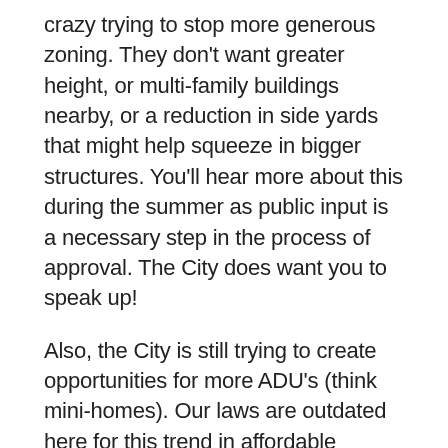crazy trying to stop more generous zoning. They don't want greater height, or multi-family buildings nearby, or a reduction in side yards that might help squeeze in bigger structures. You'll hear more about this during the summer as public input is a necessary step in the process of approval. The City does want you to speak up!
Also, the City is still trying to create opportunities for more ADU's (think mini-homes). Our laws are outdated here for this trend in affordable housing and again, NIMBY's oppose greater density in their neighborhoods. Ivory Homes has been battling Avenues residents for years to build homes at a project they call 'Capitol Park